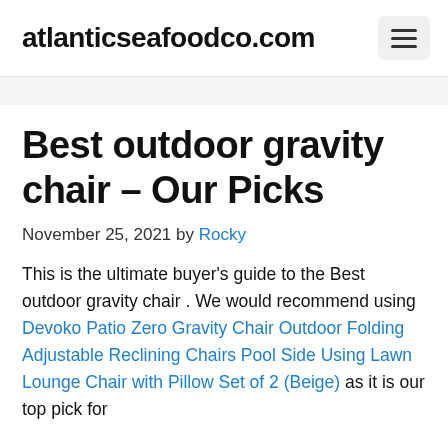atlanticseafoodco.com
Best outdoor gravity chair – Our Picks
November 25, 2021 by Rocky
This is the ultimate buyer's guide to the Best outdoor gravity chair . We would recommend using Devoko Patio Zero Gravity Chair Outdoor Folding Adjustable Reclining Chairs Pool Side Using Lawn Lounge Chair with Pillow Set of 2 (Beige) as it is our top pick for